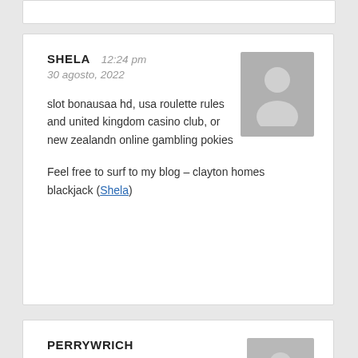SHELA   12:24 pm
30 agosto, 2022
slot bonausaa hd, usa roulette rules and united kingdom casino club, or new zealandn online gambling pokies

Feel free to surf to my blog – clayton homes blackjack (Shela)
PERRYWRICH
1:04 pm
30 agosto, 2022